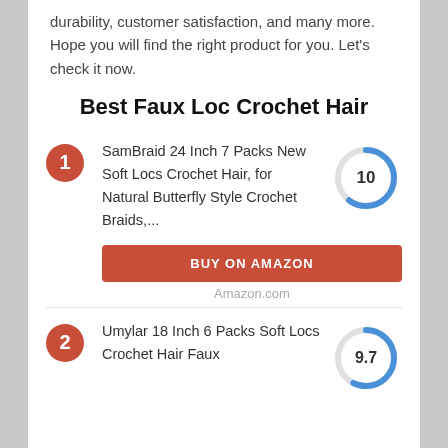durability, customer satisfaction, and many more. Hope you will find the right product for you. Let's check it now.
Best Faux Loc Crochet Hair
1. SamBraid 24 Inch 7 Packs New Soft Locs Crochet Hair, for Natural Butterfly Style Crochet Braids,… Score: 10
BUY ON AMAZON
Amazon.com
2. Umylar 18 Inch 6 Packs Soft Locs Crochet Hair Faux Score: 9.7